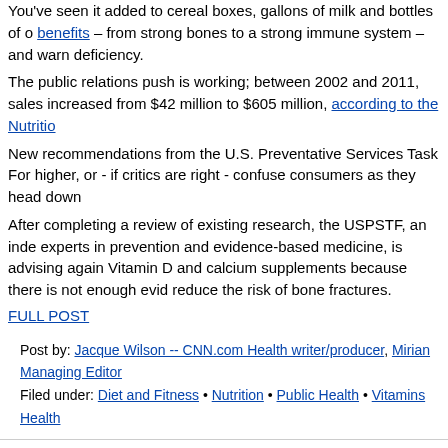You've seen it added to cereal boxes, gallons of milk and bottles of o benefits – from strong bones to a strong immune system – and warn deficiency.
The public relations push is working; between 2002 and 2011, sales increased from $42 million to $605 million, according to the Nutritio
New recommendations from the U.S. Preventative Services Task For higher, or - if critics are right - confuse consumers as they head down
After completing a review of existing research, the USPSTF, an inde experts in prevention and evidence-based medicine, is advising again Vitamin D and calcium supplements because there is not enough evid reduce the risk of bone fractures.
FULL POST
Post by: Jacque Wilson -- CNN.com Health writer/producer, Mirian Managing Editor
Filed under: Diet and Fitness • Nutrition • Public Health • Vitamins Health